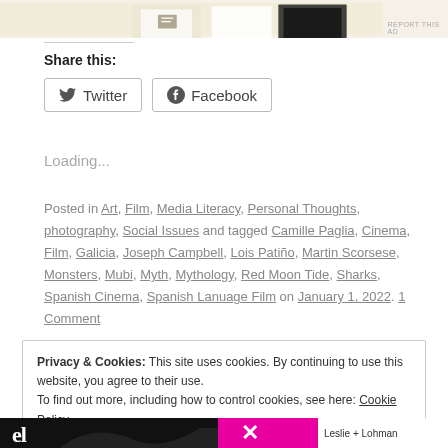[Figure (other): Advertisement banner image at top of page with REPORT THIS AD label]
Share this:
Twitter  Facebook
Loading...
Posted in Art, Film, Media Literacy, Personal Thoughts, photography, Social Issues and tagged Camille Paglia, Cinema, Film, Galicia, Joseph Campbell, Lois Patiño, Martin Scorsese, Monsters, Mubi, Myth, Mythology, Red Moon Tide, Sharks, Spanish Cinema, Spanish Lanuage Film on January 1, 2022. 1 Comment
Privacy & Cookies: This site uses cookies. By continuing to use this website, you agree to their use.
To find out more, including how to control cookies, see here: Cookie Policy
Close and accept
[Figure (other): Bottom bar with logos: dark left section with 'el' text, magenta middle section with X shape, right section showing 'Leslie + Lohman']